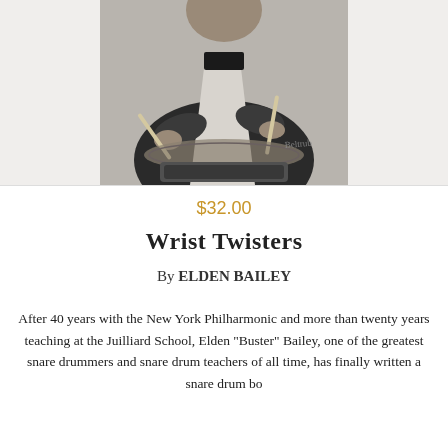[Figure (photo): Black and white photograph of a drummer holding drumsticks over a drum set, wearing a dark jacket. The word 'Beltrub' is visible in the lower right of the photo.]
$32.00
Wrist Twisters
By ELDEN BAILEY
After 40 years with the New York Philharmonic and more than twenty years teaching at the Juilliard School, Elden "Buster" Bailey, one of the greatest snare drummers and snare drum teachers of all time, has finally written a snare drum bo...